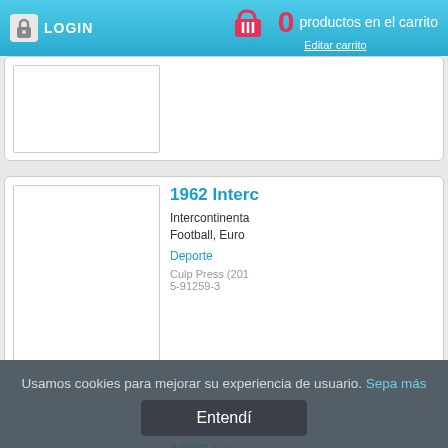LOGIN | 0 productos en el carrito | Editar carrito
[Figure (screenshot): Partial product card visible at top, showing a book cover image placeholder]
1962 Interc
Intercontinental Football, Euro Deporte Culp Press (201 5-91259-3
1993 Interc
Intercontinental Football, Euro Deporte
Usamos cookies para mejorar su experiencia de usuario. Sepa más
Entendí